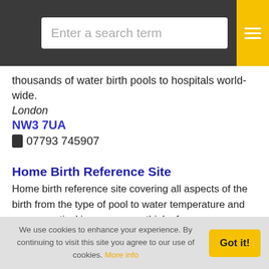Enter a search term
thousands of water birth pools to hospitals world-wide.
London
NW3 7UA
07793 745907
Home Birth Reference Site
Home birth reference site covering all aspects of the birth from the type of pool to water temperature and every practical issue you can think of.
Birth Pool in a Box
Manufacturers of the next generation of inflatable birthing pools. Designed with the help of mothers and midwives
We use cookies to enhance your experience. By continuing to visit this site you agree to our use of cookies. More info